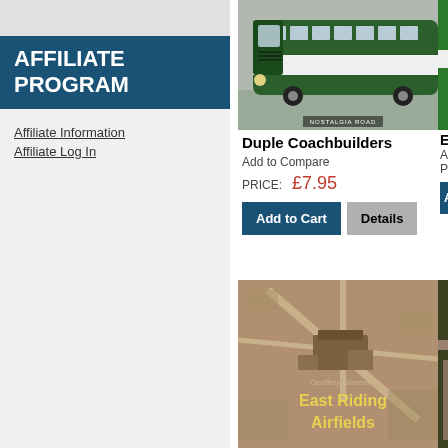AFFILIATE PROGRAM
Affiliate Information
Affiliate Log In
[Figure (photo): Green and white vintage coach bus, front view, with Nostalgia Road branding at bottom]
Duple Coachbuilders
Add to Compare
PRICE: £7.95
Add to Cart  Details
[Figure (photo): Aerial sepia photograph of East Riding Airfields with text overlay reading Geoffrey Simmons East Riding Airfields]
Eagl...
Add t...
PRIC...